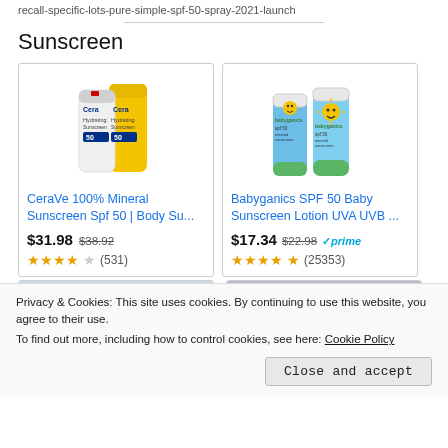recall-specific-lots-pure-simple-spf-50-spray-2021-launch
Sunscreen
[Figure (photo): CeraVe 100% Mineral Sunscreen SPF 50 product tubes, white and yellow packaging]
CeraVe 100% Mineral Sunscreen Spf 50 | Body Su...
$31.98  $38.92
★★★★☆ (531)
[Figure (photo): Babyganics SPF 50 Baby Sunscreen Lotion tubes, blue and green packaging with sun character]
Babyganics SPF 50 Baby Sunscreen Lotion UVA UVB ...
$17.34  $22.98  ✓prime
★★★★★ (25353)
Privacy & Cookies: This site uses cookies. By continuing to use this website, you agree to their use.
To find out more, including how to control cookies, see here: Cookie Policy
Close and accept